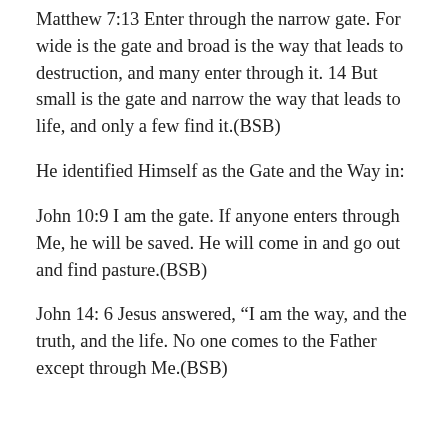Matthew 7:13 Enter through the narrow gate. For wide is the gate and broad is the way that leads to destruction, and many enter through it. 14 But small is the gate and narrow the way that leads to life, and only a few find it.(BSB)
He identified Himself as the Gate and the Way in:
John 10:9 I am the gate. If anyone enters through Me, he will be saved. He will come in and go out and find pasture.(BSB)
John 14: 6 Jesus answered, “I am the way, and the truth, and the life. No one comes to the Father except through Me.(BSB)